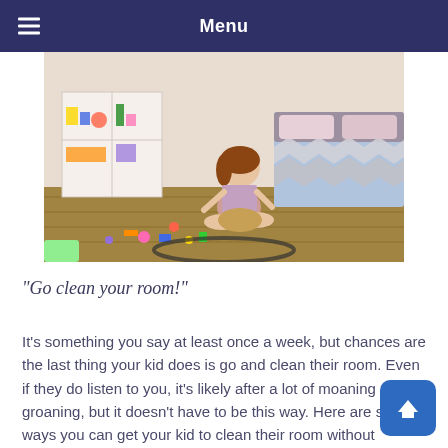Menu
[Figure (photo): A young girl sitting cross-legged on a wooden floor in a messy bedroom, playing with scattered toys. White cubby shelves are visible behind her and a bed with chevron-patterned bedding is to the right.]
“Go clean your room!”
It’s something you say at least once a week, but chances are the last thing your kid does is go and clean their room. Even if they do listen to you, it’s likely after a lot of moaning and groaning, but it doesn’t have to be this way. Here are some ways you can get your kid to clean their room without